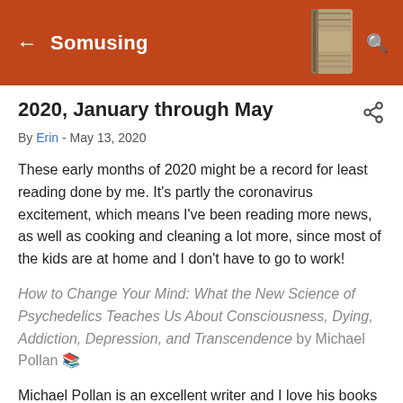← Somusing 🔍
2020, January through May
By Erin - May 13, 2020
These early months of 2020 might be a record for least reading done by me. It's partly the coronavirus excitement, which means I've been reading more news, as well as cooking and cleaning a lot more, since most of the kids are at home and I don't have to go to work!
How to Change Your Mind: What the New Science of Psychedelics Teaches Us About Consciousness, Dying, Addiction, Depression, and Transcendence by Michael Pollan 📖
Michael Pollan is an excellent writer and I love his books about food. I wasn't sure I'd be interested in this one, but it